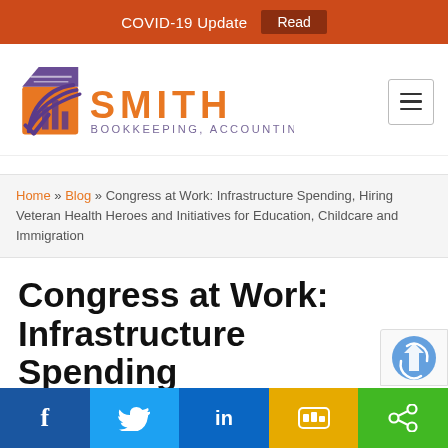COVID-19 Update  Read
[Figure (logo): Smith Bookkeeping, Accounting logo with stylized book/chart icon in purple and orange]
Home » Blog » Congress at Work: Infrastructure Spending, Hiring Veteran Health Heroes and Initiatives for Education, Childcare and Immigration
Congress at Work: Infrastructure Spending,
Facebook  Twitter  LinkedIn  SMS  Share